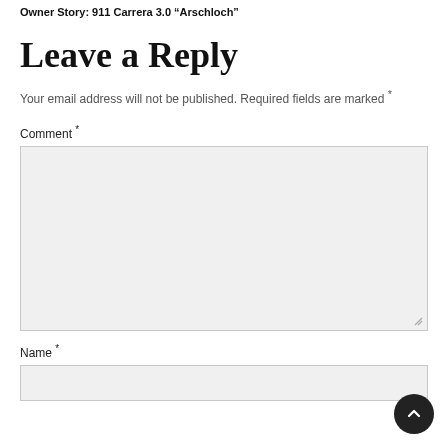Owner Story: 911 Carrera 3.0 "Arschloch"
Leave a Reply
Your email address will not be published. Required fields are marked *
Comment *
Name *